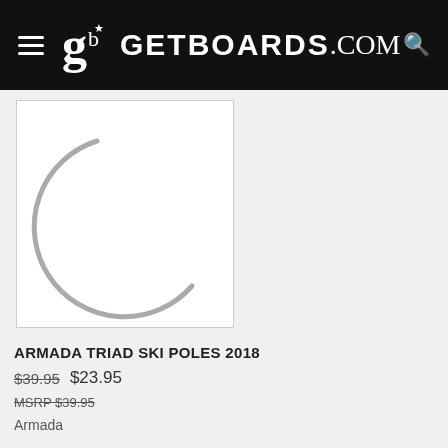GETBOARDS.COM
[Figure (photo): Product image of Armada Triad Ski Poles 2018 on white background with a partial circular loading/spinner graphic visible]
ARMADA TRIAD SKI POLES 2018
$39.95  $23.95
MSRP $39.95
Armada